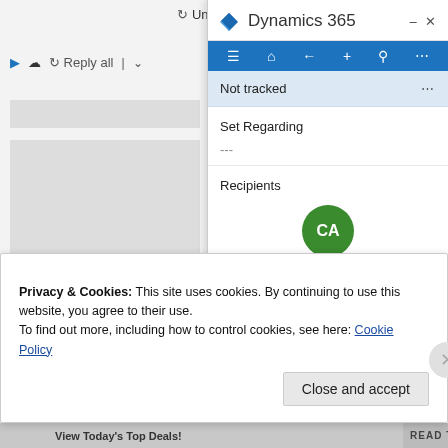[Figure (screenshot): Left side of Outlook email client showing Undo button, Reply all toolbar, and grey content blocks]
[Figure (screenshot): Dynamics 365 sidebar panel showing navigation bar, Not tracked status, Set Regarding section with dashes, Recipients section with CA avatar for CRM user, and User section]
Privacy & Cookies: This site uses cookies. By continuing to use this website, you agree to their use.
To find out more, including how to control cookies, see here: Cookie Policy
Close and accept
View Today's Top Deals!